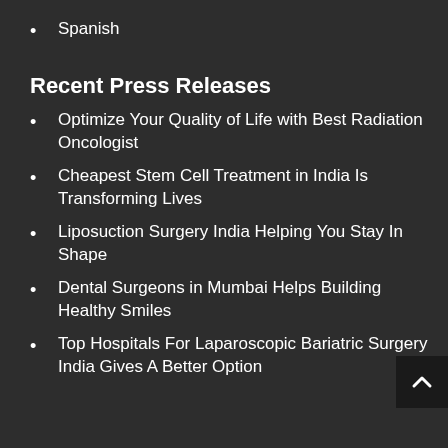Spanish
Recent Press Releases
Optimize Your Quality of Life with Best Radiation Oncologist
Cheapest Stem Cell Treatment in India Is Transforming Lives
Liposuction Surgery India Helping You Stay In Shape
Dental Surgeons in Mumbai Helps Building Healthy Smiles
Top Hospitals For Laparoscopic Bariatric Surgery India Gives A Better Option